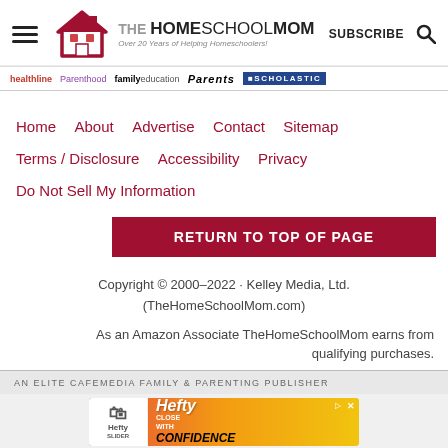TheHomeSchoolMom — Over 20 Years of Helping Homeschoolers!
[Figure (logo): TheHomeSchoolMom logo with house icon and tagline 'Over 20 Years of Helping Homeschoolers!']
SUBSCRIBE
[Figure (other): Partner logos: healthline Parenthood familyeducation Parents SCHOLASTIC]
Home  About  Advertise  Contact  Sitemap  Terms / Disclosure  Accessibility  Privacy  Do Not Sell My Information
RETURN TO TOP OF PAGE
Copyright © 2000–2022 · Kelley Media, Ltd. (TheHomeSchoolMom.com)
As an Amazon Associate TheHomeSchoolMom earns from qualifying purchases.
AN ELITE CAFEMEDIA FAMILY & PARENTING PUBLISHER
[Figure (other): Hefty Slider bags advertisement - Close With Confidence]